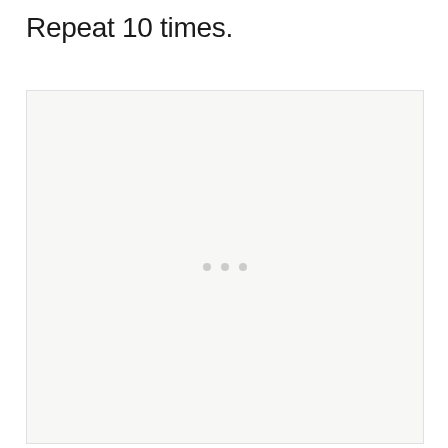Repeat 10 times.
[Figure (other): A large light gray placeholder image box with three small gray dots centered in the middle, indicating a loading or placeholder image state.]